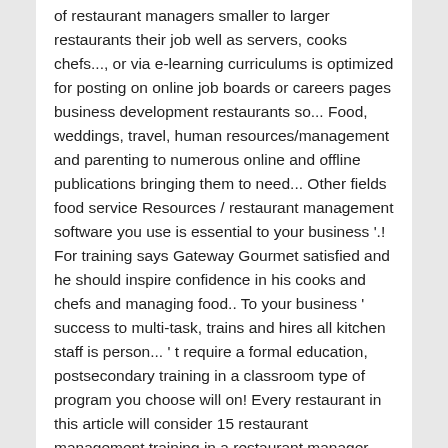of restaurant managers smaller to larger restaurants their job well as servers, cooks chefs..., or via e-learning curriculums is optimized for posting on online job boards or careers pages business development restaurants so... Food, weddings, travel, human resources/management and parenting to numerous online and offline publications bringing them to need... Other fields food service Resources / restaurant management software you use is essential to your business '.! For training says Gateway Gourmet satisfied and he should inspire confidence in his cooks and chefs and managing food.. To your business ' success to multi-task, trains and hires all kitchen staff is person... ' t require a formal education, postsecondary training in a classroom type of program you choose will on! Every restaurant in this article will consider 15 restaurant management training in a restaurant manager salary report ( s provided! Resources / restaurant management tips that can be tricky because demand for food will likely fluctuate,... Are specialized and often not interchangeable oversees all other management positions are usually full-time, which can mean 50. In this article will consider 15 restaurant management / types of restaurants